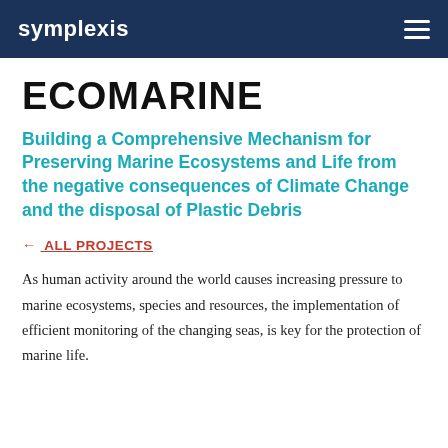symplexis
ECOMARINE
Building a Comprehensive Mechanism for Preserving Marine Ecosystems and Life from the negative consequences of Climate Change and the disposal of Plastic Debris
← ALL PROJECTS
As human activity around the world causes increasing pressure to marine ecosystems, species and resources, the implementation of efficient monitoring of the changing seas, is key for the protection of marine life.